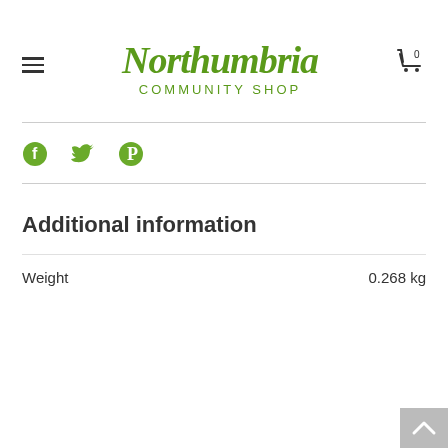Northumbria Community Shop
[Figure (logo): Northumbria Community Shop logo with stylized green handwritten text and subtitle 'COMMUNITY SHOP']
Additional information
| Weight | 0.268 kg |
| --- | --- |